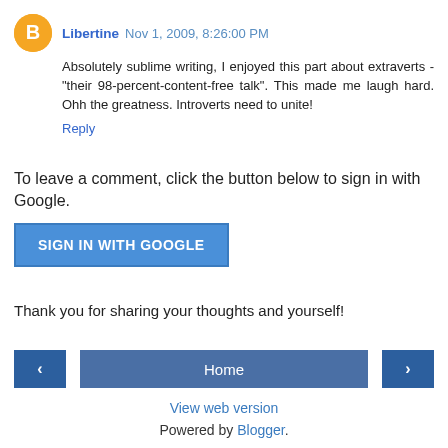Libertine Nov 1, 2009, 8:26:00 PM
Absolutely sublime writing, I enjoyed this part about extraverts - "their 98-percent-content-free talk". This made me laugh hard. Ohh the greatness. Introverts need to unite!
Reply
To leave a comment, click the button below to sign in with Google.
SIGN IN WITH GOOGLE
Thank you for sharing your thoughts and yourself!
< Home > View web version Powered by Blogger.